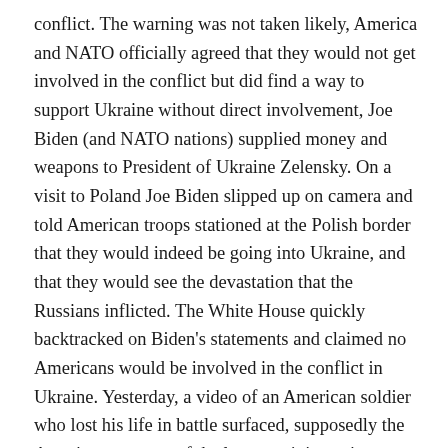conflict. The warning was not taken likely, America and NATO officially agreed that they would not get involved in the conflict but did find a way to support Ukraine without direct involvement, Joe Biden (and NATO nations) supplied money and weapons to President of Ukraine Zelensky. On a visit to Poland Joe Biden slipped up on camera and told American troops stationed at the Polish border that they would indeed be going into Ukraine, and that they would see the devastation that the Russians inflicted. The White House quickly backtracked on Biden's statements and claimed no Americans would be involved in the conflict in Ukraine. Yesterday, a video of an American soldier who lost his life in battle surfaced, supposedly the American was one of the last remaining snipers, shooting at Russians from a building in Mariupol.